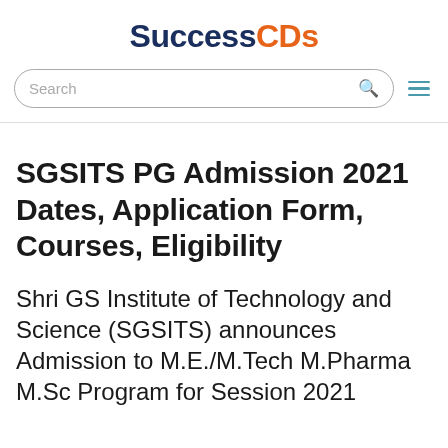SuccessCDs
SGSITS PG Admission 2021 Dates, Application Form, Courses, Eligibility
Shri GS Institute of Technology and Science (SGSITS) announces Admission to M.E./M.Tech M.Pharma M.Sc Program for Session 2021